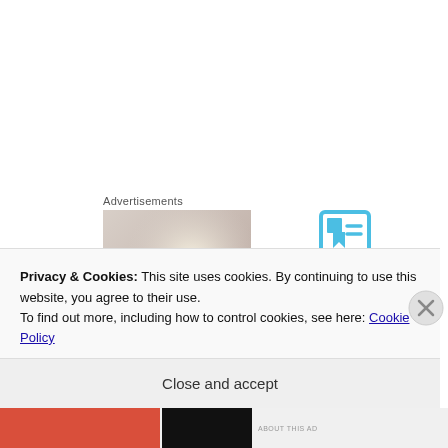Advertisements
[Figure (photo): Person photographing the sky with a phone or bottle, shot from behind, warm tones]
[Figure (logo): Day One Journal logo — blue bookmark icon above text DAYONE JOURNAL, with text 'Over 150,000' below]
[Figure (photo): Circular profile photo partially visible showing flowers/greenery]
Debra Kollke
Privacy & Cookies: This site uses cookies. By continuing to use this website, you agree to their use.
To find out more, including how to control cookies, see here: Cookie Policy
Close and accept